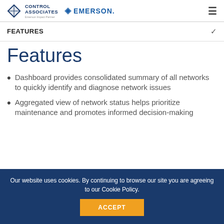Control Associates | Emerson Impact Partner | EMERSON.
FEATURES
Features
Dashboard provides consolidated summary of all networks to quickly identify and diagnose network issues
Aggregated view of network status helps prioritize maintenance and promotes informed decision-making
Our website uses cookies. By continuing to browse our site you are agreeing to our Cookie Policy.